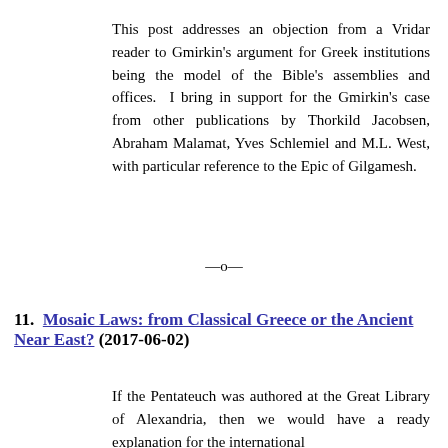This post addresses an objection from a Vridar reader to Gmirkin's argument for Greek institutions being the model of the Bible's assemblies and offices. I bring in support for the Gmirkin's case from other publications by Thorkild Jacobsen, Abraham Malamat, Yves Schlemiel and M.L. West, with particular reference to the Epic of Gilgamesh.
—o—
11. Mosaic Laws: from Classical Greece or the Ancient Near East? (2017-06-02)
If the Pentateuch was authored at the Great Library of Alexandria, then we would have a ready explanation for the international